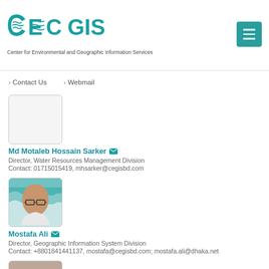[Figure (logo): CEGIS logo - Center for Environmental and Geographic Information Services teal colored text logo with wave symbols]
Contact Us
Webmail
[Figure (photo): Profile photo placeholder for Md Motaleb Hossain Sarker - empty bordered box]
Md Motaleb Hossain Sarker
Director, Water Resources Management Division
Contact: 01715015419, mhsarker@cegisbd.com
[Figure (photo): Profile photo of Mostafa Ali - bald man with glasses, CEGIS logo in background]
Mostafa Ali
Director, Geographic Information System Division
Contact: +8801841441137, mostafa@cegisbd.com; mostafa.ali@dhaka.net
[Figure (photo): Partial profile photo at bottom of page, cropped]